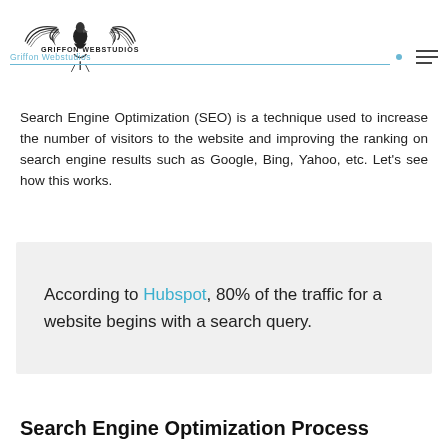Griffon Webstudios — Digital Marketing
Search Engine Optimization (SEO) is a technique used to increase the number of visitors to the website and improving the ranking on search engine results such as Google, Bing, Yahoo, etc. Let's see how this works.
According to Hubspot, 80% of the traffic for a website begins with a search query.
Search Engine Optimization Process